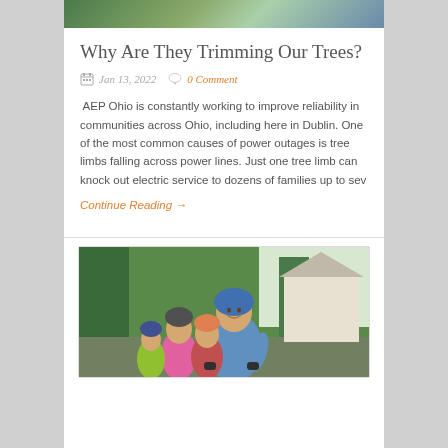[Figure (photo): Top portion of an outdoor photo, appears to show trees or outdoor scene]
Why Are They Trimming Our Trees?
Jan 13, 2022   0 Comment
AEP Ohio is constantly working to improve reliability in communities across Ohio, including here in Dublin. One of the most common causes of power outages is tree limbs falling across power lines. Just one tree limb can knock out electric service to dozens of families up to sev
Continue Reading →
[Figure (photo): Children roller skating or biking outdoors; child in foreground wearing blue helmet and blue shirt with protective gear, other children visible behind, suburban outdoor setting with trees and house]